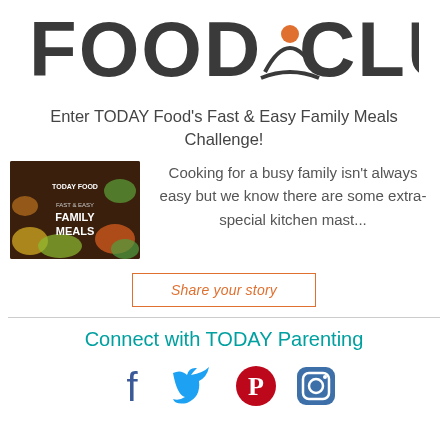[Figure (logo): TODAY Food Club logo with orange arch/person icon between 'FOOD' and 'CLUB' text in dark gray bold letters]
Enter TODAY Food's Fast & Easy Family Meals Challenge!
[Figure (photo): TODAY Food Fast & Easy Family Meals promotional image showing colorful food dishes on a dark background with text overlay]
Cooking for a busy family isn't always easy but we know there are some extra-special kitchen mast...
Share your story
Connect with TODAY Parenting
[Figure (infographic): Social media icons: Facebook, Twitter, Pinterest, Instagram]